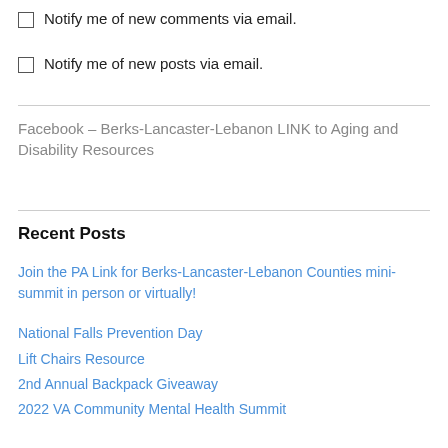Notify me of new comments via email.
Notify me of new posts via email.
Facebook – Berks-Lancaster-Lebanon LINK to Aging and Disability Resources
Recent Posts
Join the PA Link for Berks-Lancaster-Lebanon Counties mini-summit in person or virtually!
National Falls Prevention Day
Lift Chairs Resource
2nd Annual Backpack Giveaway
2022 VA Community Mental Health Summit